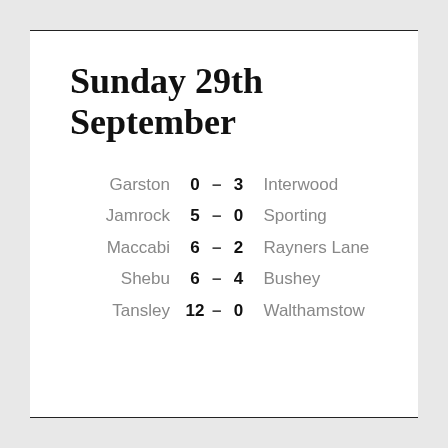Sunday 29th September
| Home | Score Home | – | Score Away | Away |
| --- | --- | --- | --- | --- |
| Garston | 0 | – | 3 | Interwood |
| Jamrock | 5 | – | 0 | Sporting |
| Maccabi | 6 | – | 2 | Rayners Lane |
| Shebu | 6 | – | 4 | Bushey |
| Tansley | 12 | – | 0 | Walthamstow |